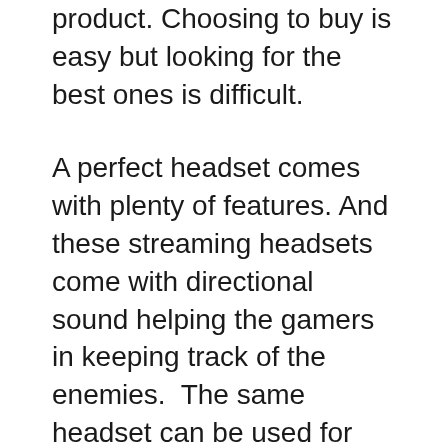product. Choosing to buy is easy but looking for the best ones is difficult.
A perfect headset comes with plenty of features. And these streaming headsets come with directional sound helping the gamers in keeping track of the enemies.  The same headset can be used for interaction and communication during the gaming session. It should have excellent audio quality, microphone and should be adjustable, easy to use, and connect.
Impeccable headphones should have immersive sound/audio quality, comfy ear pads, omnidirectional sound, a 50mm driver, etc.
Based on how you choose, it should follow the